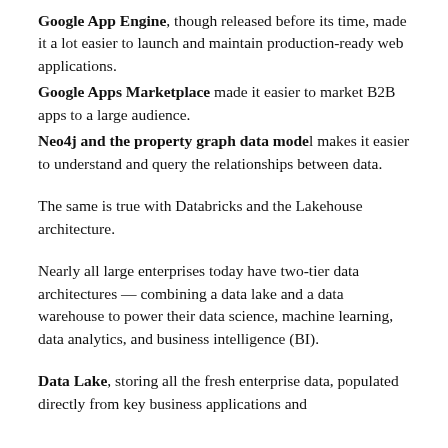Google App Engine, though released before its time, made it a lot easier to launch and maintain production-ready web applications.
Google Apps Marketplace made it easier to market B2B apps to a large audience.
Neo4j and the property graph data model makes it easier to understand and query the relationships between data.
The same is true with Databricks and the Lakehouse architecture.
Nearly all large enterprises today have two-tier data architectures — combining a data lake and a data warehouse to power their data science, machine learning, data analytics, and business intelligence (BI).
Data Lake, storing all the fresh enterprise data, populated directly from key business applications and